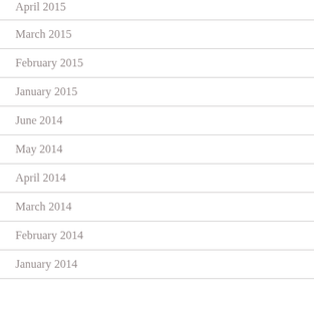April 2015
March 2015
February 2015
January 2015
June 2014
May 2014
April 2014
March 2014
February 2014
January 2014